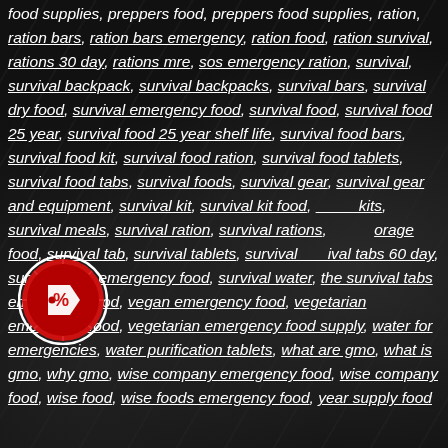food supplies, preppers food, preppers food supplies, ration, ration bars, ration bars emergency, ration food, ration survival, rations 30 day, rations mre, sos emergency ration, survival, survival backpack, survival backpacks, survival bars, survival dry food, survival emergency food, survival food, survival food 25 year, survival food 25 year shelf life, survival food bars, survival food kit, survival food ration, survival food tablets, survival food tabs, survival foods, survival gear, survival gear and equipment, survival kit, survival kit food, survival kits, survival meals, survival ration, survival rations, storage food, survival tab, survival tablets, survival tabs 60 day, survival tabs emergency food, survival water, the survival tabs emergency food, vegan emergency food, vegetarian emergency food, vegetarian emergency food supply, water for emergencies, water purification tablets, what are gmo, what is gmo, why gmo, wise company emergency food, wise company food, wise food, wise foods emergency food, year supply food
[Figure (illustration): Red circular badge/icon with a white price tag percent symbol in the center, with radiating lines suggesting a starburst effect]